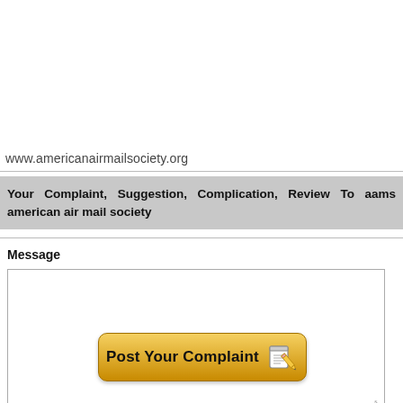www.americanairmailsociety.org
Your Complaint, Suggestion, Complication, Review To aams american air mail society
Message
[Figure (screenshot): A textarea input box for message entry, followed by a 'Post Your Complaint' button with gold gradient background and pencil/notepad icon.]